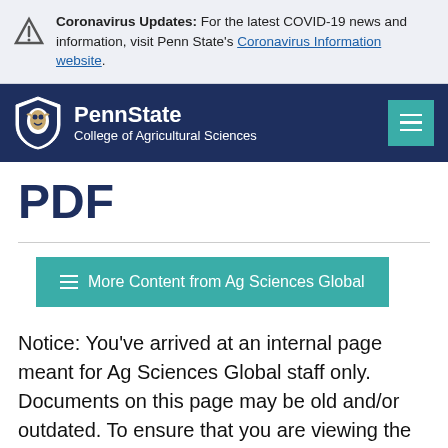Coronavirus Updates: For the latest COVID-19 news and information, visit Penn State's Coronavirus Information website.
[Figure (logo): Penn State College of Agricultural Sciences navigation bar with lion shield logo and teal hamburger menu button]
PDF
≡ More Content from Ag Sciences Global
Notice: You've arrived at an internal page meant for Ag Sciences Global staff only. Documents on this page may be old and/or outdated. To ensure that you are viewing the most up to date document or information, please click the link below to return to our homepage and